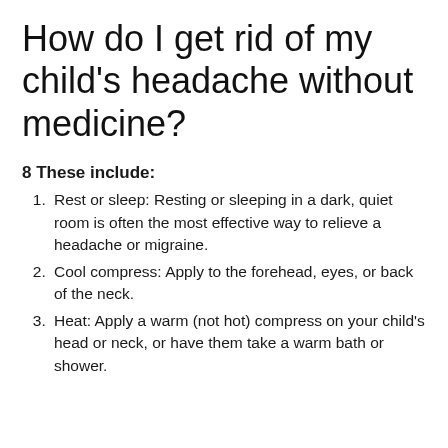How do I get rid of my child's headache without medicine?
8 These include:
Rest or sleep: Resting or sleeping in a dark, quiet room is often the most effective way to relieve a headache or migraine.
Cool compress: Apply to the forehead, eyes, or back of the neck.
Heat: Apply a warm (not hot) compress on your child's head or neck, or have them take a warm bath or shower.